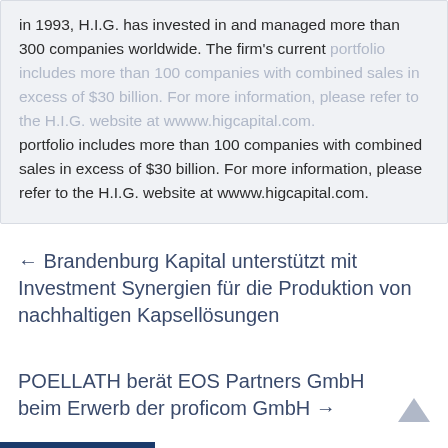in 1993, H.I.G. has invested in and managed more than 300 companies worldwide. The firm's current portfolio includes more than 100 companies with combined sales in excess of $30 billion. For more information, please refer to the H.I.G. website at wwww.higcapital.com.
← Brandenburg Kapital unterstützt mit Investment Synergien für die Produktion von nachhaltigen Kapsellösungen
POELLATH berät EOS Partners GmbH beim Erwerb der proficom GmbH →